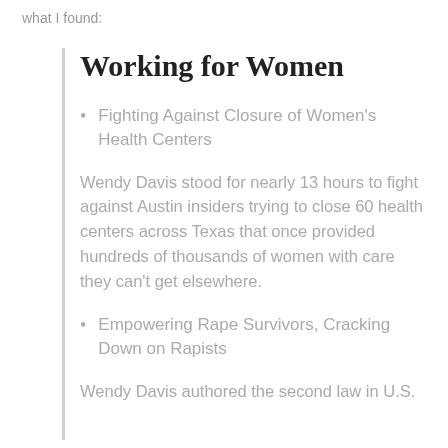what I found:
Working for Women
Fighting Against Closure of Women's Health Centers
Wendy Davis stood for nearly 13 hours to fight against Austin insiders trying to close 60 health centers across Texas that once provided hundreds of thousands of women with care they can't get elsewhere.
Empowering Rape Survivors, Cracking Down on Rapists
Wendy Davis authored the second law in U.S.